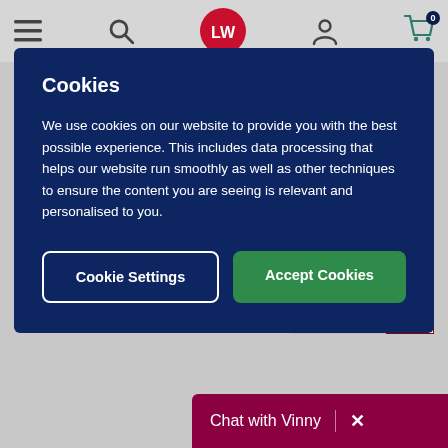LW website navigation bar with menu, search, logo, user, and cart icons
Cookies
We use cookies on our website to provide you with the best possible experience. This includes data processing that helps our website run smoothly as well as other techniques to ensure the content you are seeing is relevant and personalised to you.
Cookie Settings | Accept Cookies
Page 1 of 5
Chat with Vinny  ×